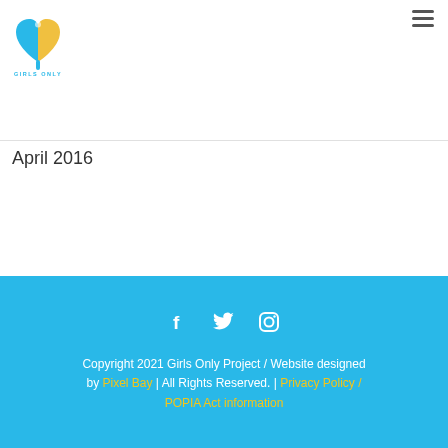[Figure (logo): Girls Only Project logo: a heart shape divided in blue and yellow halves with a cross/pin motif, text 'GIRLS ONLY' beneath]
April 2016
Copyright 2021 Girls Only Project / Website designed by Pixel Bay | All Rights Reserved. | Privacy Policy / POPIA Act information